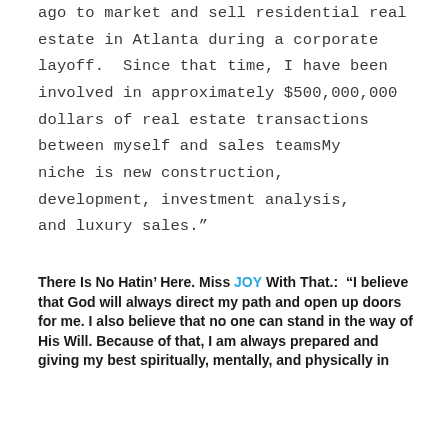ago to market and sell residential real estate in Atlanta during a corporate layoff.  Since that time, I have been involved in approximately $500,000,000 dollars of real estate transactions between myself and sales teamsMy niche is new construction, development, investment analysis, and luxury sales."
There Is No Hatin' Here. Miss JOY With That.:  "I believe that God will always direct my path and open up doors for me. I also believe that no one can stand in the way of His Will. Because of that, I am always prepared and giving my best spiritually, mentally, and physically in